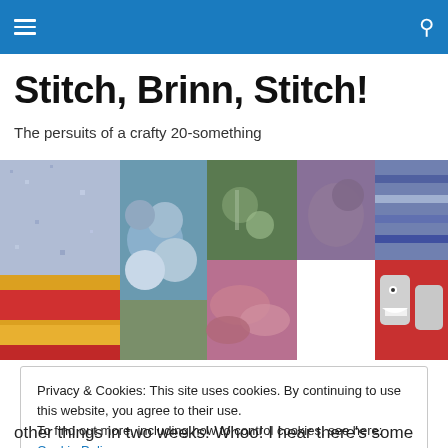Stitch, Brinn, Stitch!
The persuits of a crafty 20-something
[Figure (photo): Photo collage of knitting and crafting related images: blue knit fabric, hydrangea flowers, stitch markers, a purple bird toy, striped yarn, colorful socks, pink yarn skeins, and shark-mouth mittens.]
Privacy & Cookies: This site uses cookies. By continuing to use this website, you agree to their use.
To find out more, including how to control cookies, see here: Cookie Policy
Close and accept
other things in two weeks! Whoo! I hear there's some